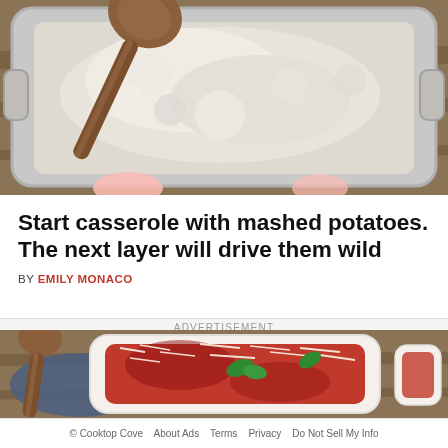[Figure (photo): Top-down view of a glass casserole dish being filled with a white creamy mashed potato mixture, with a wooden spoon spreading the mixture. Hands visible at the bottom of the frame.]
Start casserole with mashed potatoes. The next layer will drive them wild
BY EMILY MONACO
ADVERTISEMENT
[Figure (photo): A white casserole dish containing layered food with red tomato sauce, melted cheese, and green basil leaves on top, placed on a wooden surface with a wooden spoon visible to the left.]
© Cooktop Cove   About Ads   Terms   Privacy   Do Not Sell My Info